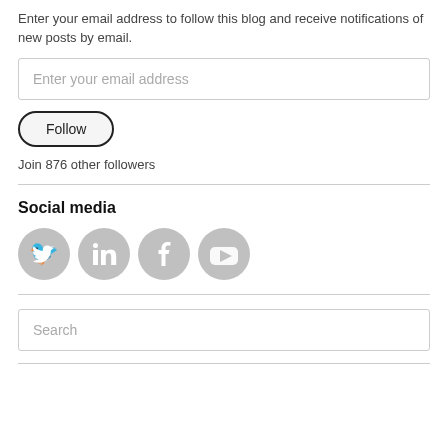Enter your email address to follow this blog and receive notifications of new posts by email.
Enter your email address
Follow
Join 876 other followers
Social media
[Figure (illustration): Four gray social media icon circles: Twitter, LinkedIn, Facebook, YouTube]
Search